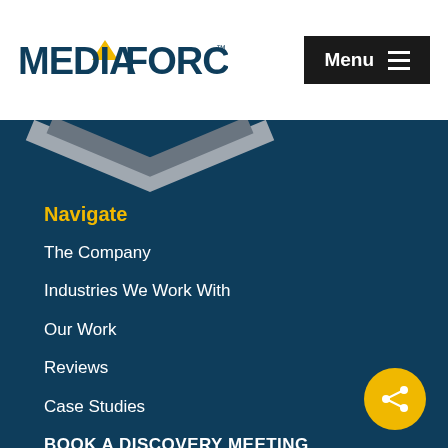[Figure (logo): MediaForce logo with yellow triangle/arrow and bold text 'MEDIAFORCE' in navy blue]
Menu
[Figure (illustration): Partial chevron/arrow graphic in grey on dark teal background]
Navigate
The Company
Industries We Work With
Our Work
Reviews
Case Studies
BOOK A DISCOVERY MEETING